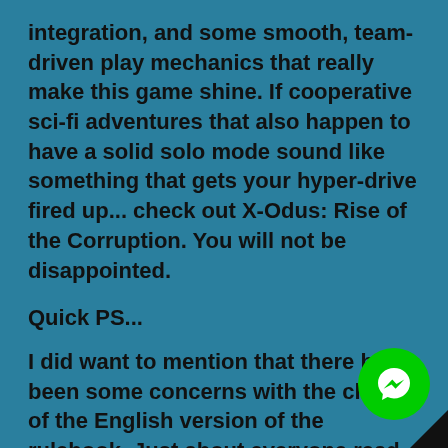integration, and some smooth, team-driven play mechanics that really make this game shine. If cooperative sci-fi adventures that also happen to have a solid solo mode sound like something that gets your hyper-drive fired up... check out X-Odus: Rise of the Corruption. You will not be disappointed.
Quick PS...
I did want to mention that there have been some concerns with the clarity of the English version of the rulebook. Just about everyone read through noted that even with the clunky